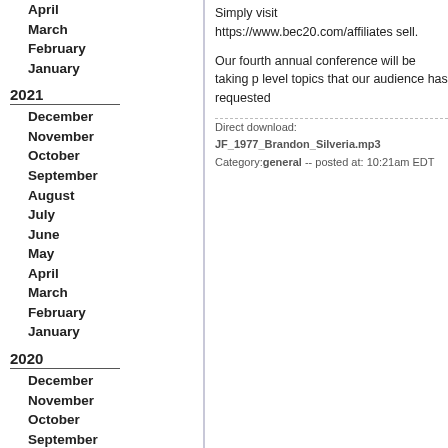April
March
February
January
2021
December
November
October
September
August
July
June
May
April
March
February
January
2020
December
November
October
September
August
July
June
May
April
March
February
January
Simply visit https://www.bec20.com/affiliates sell.
Our fourth annual conference will be taking p level topics that our audience has requested
Direct download: JF_1977_Brandon_Silveria.mp3
Category:general -- posted at: 10:21am EDT